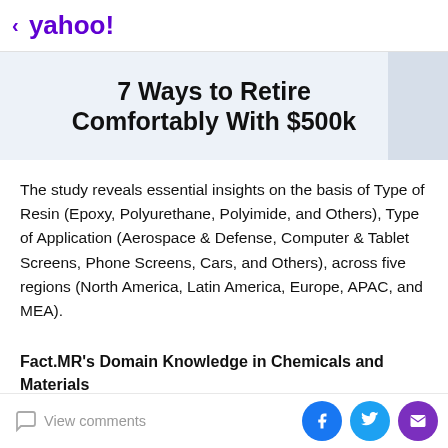< yahoo!
[Figure (screenshot): Ad banner showing truncated text '7 Ways to Retire Comfortably With $500k' on light blue background]
The study reveals essential insights on the basis of Type of Resin (Epoxy, Polyurethane, Polyimide, and Others), Type of Application (Aerospace & Defense, Computer & Tablet Screens, Phone Screens, Cars, and Others), across five regions (North America, Latin America, Europe, APAC, and MEA).
Fact.MR's Domain Knowledge in Chemicals and Materials
Our chemicals and materials consulting team guides
View comments